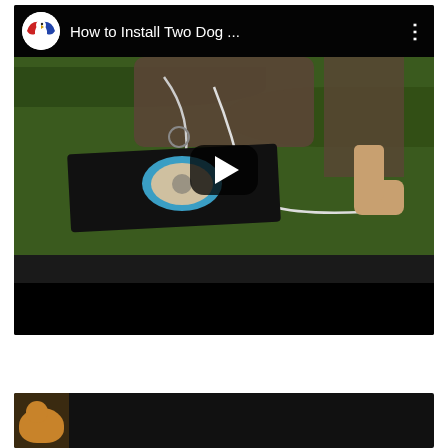[Figure (screenshot): YouTube video thumbnail showing 'How to Install Two Dog ...' with a YouTube channel logo (eagle/bird with red/blue colors), a play button overlay in the center, and a scene of someone installing a dog tie-out system with a bowl on grass. Black bar at top with title and three-dot menu. Black bar at bottom.]
[Figure (screenshot): Partial view of a second YouTube video thumbnail at the bottom of the page, showing a dark background with what appears to be a dog image on the left side.]